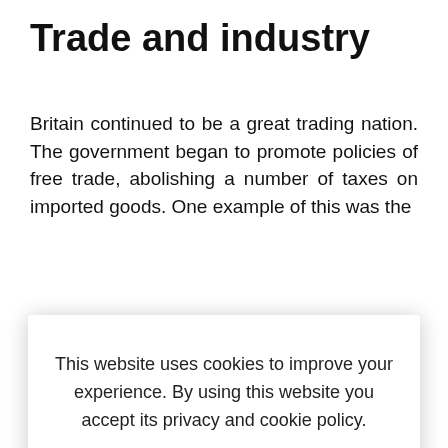Trade and industry
Britain continued to be a great trading nation. The government began to promote policies of free trade, abolishing a number of taxes on imported goods. One example of this was the
This website uses cookies to improve your experience. By using this website you accept its privacy and cookie policy.
by law to 10 hours per day. Better housing